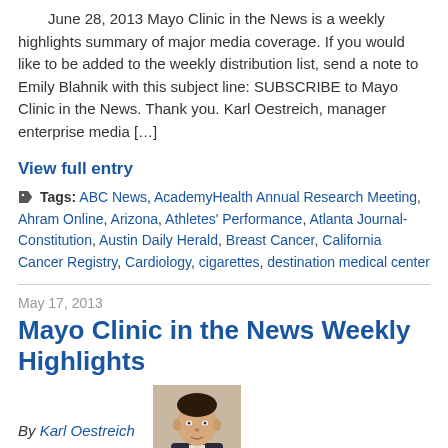June 28, 2013 Mayo Clinic in the News is a weekly highlights summary of major media coverage. If you would like to be added to the weekly distribution list, send a note to Emily Blahnik with this subject line: SUBSCRIBE to Mayo Clinic in the News. Thank you. Karl Oestreich, manager enterprise media […]
View full entry
Tags: ABC News, AcademyHealth Annual Research Meeting, Ahram Online, Arizona, Athletes' Performance, Atlanta Journal-Constitution, Austin Daily Herald, Breast Cancer, California Cancer Registry, Cardiology, cigarettes, destination medical center
May 17, 2013
Mayo Clinic in the News Weekly Highlights
By Karl Oestreich
[Figure (photo): Headshot photo of Karl Oestreich, a man in a suit]
May 17, 2013 Mayo Clinic in the News is a weekly highlights summary of major media coverage. If you would like to be added to the weekly distribution list, send a note to Emily Blahnik with this subject line: SUBSCRIBE to Mayo Clinic in the News. Thank